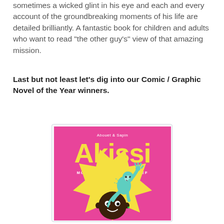sometimes a wicked glint in his eye and each and every account of the groundbreaking moments of his life are detailed brilliantly. A fantastic book for children and adults who want to read "the other guy's" view of that amazing mission.
Last but not least let's dig into our Comic / Graphic Novel of the Year winners.
[Figure (illustration): Book cover of 'Akissi: More Tales of Mischief' by Abouet & Sapin. Bright pink background with large yellow title text 'Akissi', subtitle 'More Tales of Mischief', featuring cartoon illustrations of a dark-skinned child with wide eyes surrounded by a yellow starburst, and a teal-colored monkey sitting on their shoulder/head waving.]